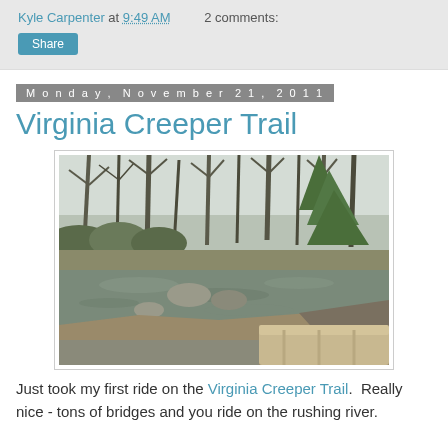Kyle Carpenter at 9:49 AM   2 comments:
Share
Monday, November 21, 2011
Virginia Creeper Trail
[Figure (photo): Photo of a creek or river with rocky banks, bare winter trees and some evergreen vegetation on both sides, taken from a wooden bridge railing visible in the foreground right.]
Just took my first ride on the Virginia Creeper Trail.  Really nice - tons of bridges and you ride on the rushing river.